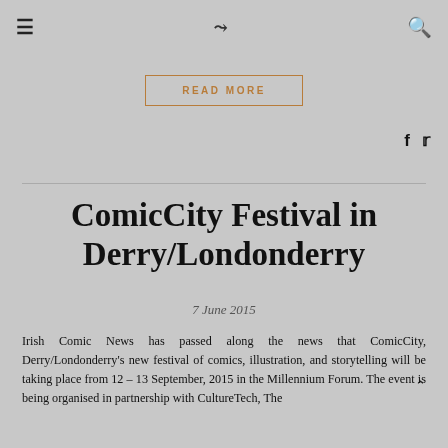≡  ⌄⌄  🔍
READ MORE
ComicCity Festival in Derry/Londonderry
7 June 2015
Irish Comic News has passed along the news that ComicCity, Derry/Londonderry's new festival of comics, illustration, and storytelling will be taking place from 12 – 13 September, 2015 in the Millennium Forum. The event is being organised in partnership with CultureTech, The